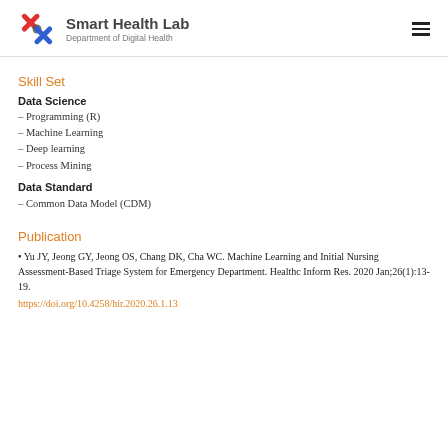Smart Health Lab — Department of Digital Health
Skill Set
Data Science
– Programming (R)
– Machine Learning
– Deep learning
– Process Mining
Data Standard
– Common Data Model (CDM)
Publication
• Yu JY, Jeong GY, Jeong OS, Chang DK, Cha WC. Machine Learning and Initial Nursing Assessment-Based Triage System for Emergency Department. Healthc Inform Res. 2020 Jan;26(1):13-19.
https://doi.org/10.4258/hir.2020.26.1.13